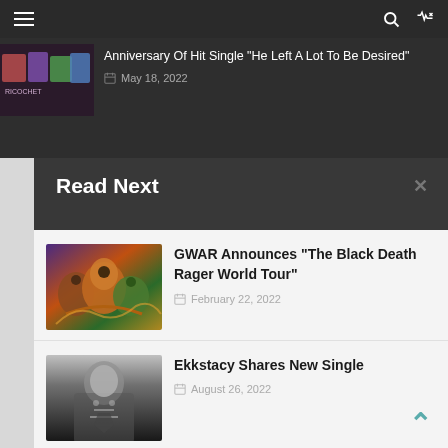Navigation bar with hamburger menu, search, and shuffle icons
Anniversary Of Hit Single "He Left A Lot To Be Desired"
May 18, 2022
Read Next
GWAR Announces “The Black Death Rager World Tour”
February 22, 2022
[Figure (illustration): Colorful fantasy artwork featuring GWAR band members as monstrous characters]
Ekkstacy Shares New Single
August 26, 2022
[Figure (photo): Black and white photo of a person wearing a necklace, looking upward]